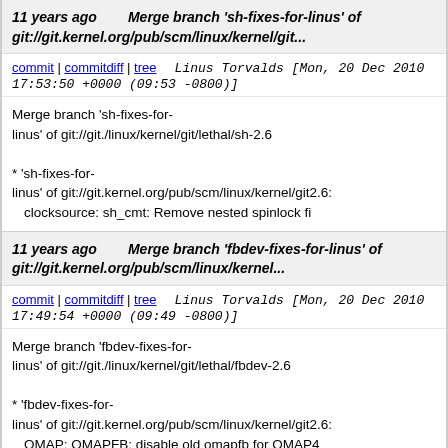11 years ago   Merge branch 'sh-fixes-for-linus' of git://git.kernel.org/pub/scm/linux/kernel/git...
commit | commitdiff | tree   Linus Torvalds [Mon, 20 Dec 2010 17:53:50 +0000 (09:53 -0800)]
Merge branch 'sh-fixes-for-linus' of git://git./linux/kernel/git/lethal/sh-2.6

* 'sh-fixes-for-linus' of git://git.kernel.org/pub/scm/linux/kernel/git2.6:
  clocksource: sh_cmt: Remove nested spinlock fi
11 years ago   Merge branch 'fbdev-fixes-for-linus' of git://git.kernel.org/pub/scm/linux/kernel...
commit | commitdiff | tree   Linus Torvalds [Mon, 20 Dec 2010 17:49:54 +0000 (09:49 -0800)]
Merge branch 'fbdev-fixes-for-linus' of git://git./linux/kernel/git/lethal/fbdev-2.6

* 'fbdev-fixes-for-linus' of git://git.kernel.org/pub/scm/linux/kernel/git2.6:
  OMAP: OMAPFB: disable old omapfb for OMAP4